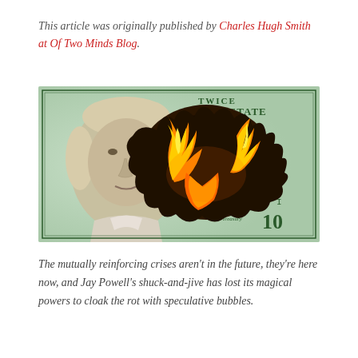This article was originally published by Charles Hugh Smith at Of Two Minds Blog.
[Figure (photo): A US $100 bill with Benjamin Franklin's portrait on the left side. The center and right portion of the bill is burning with orange and yellow flames creating a large black charred hole. The background shows the bill's text including '3601' and '10' visible on the right side.]
The mutually reinforcing crises aren't in the future, they're here now, and Jay Powell's shuck-and-jive has lost its magical powers to cloak the rot with speculative bubbles.